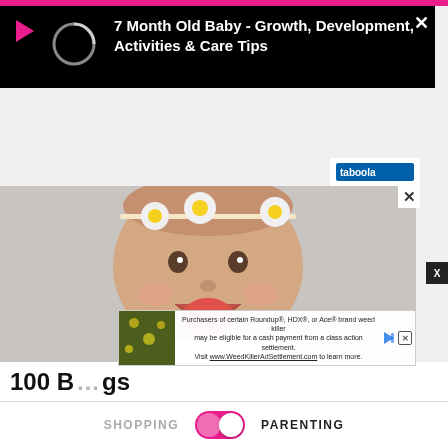[Figure (screenshot): Pink top navigation bar of a mobile app]
[Figure (screenshot): Black video popup overlay with play icon, loading spinner circle, and title '7 Month Old Baby - Growth, Development, Activities & Care Tips' in white text on black background with X close button]
7 Month Old Baby - Growth, Development, Activities & Care Tips
[Figure (photo): A laughing baby wearing a daisy flower headband, mouth wide open, light background]
[Figure (screenshot): Advertisement overlay: 'Purchasers of certain Roundup®, HDX®, or Ace® brand weed killer may be eligible for a cash payment from a class action settlement. Visit www.WeedKillerAdSettlement.com to learn more.' with green thumbnail]
100 B...gs
SHOPPING   PARENTING